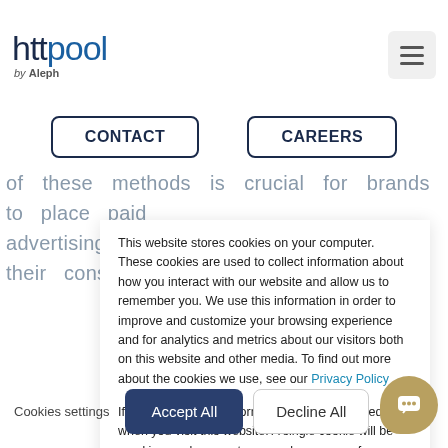httpool by Aleph
CONTACT   CAREERS
of these methods is crucial for brands to place paid advertising content within the areas of their consumer's
This website stores cookies on your computer. These cookies are used to collect information about how you interact with our website and allow us to remember you. We use this information in order to improve and customize your browsing experience and for analytics and metrics about our visitors both on this website and other media. To find out more about the cookies we use, see our Privacy Policy

If you decline, your information won't be tracked when you visit this website. A single cookie will be used in your browser to remember your preference not to be tracked.
Cookies settings   Accept All   Decline All